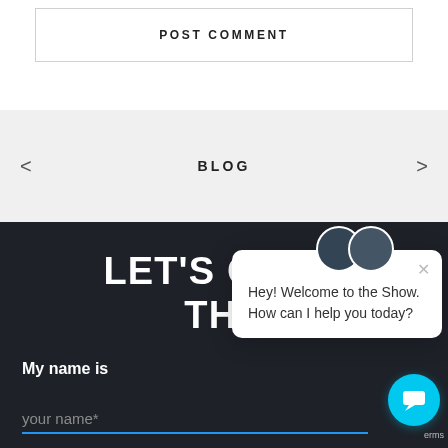POST COMMENT
BLOG
LET'S GET T… THE…
My name is
your name*
[Figure (screenshot): Chat popup overlay showing two avatar circles and message: 'Hey! Welcome to the Show. How can I help you today?' with a close button and cyan chat FAB button]
Hey! Welcome to the Show. How can I help you today?
erms